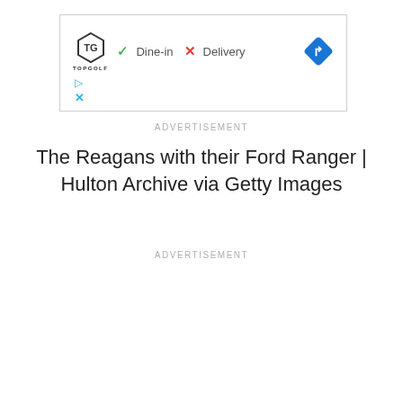[Figure (screenshot): Advertisement box with Topgolf logo, dine-in checkmark and delivery X icons, a navigation direction arrow diamond icon, play and close controls]
ADVERTISEMENT
The Reagans with their Ford Ranger | Hulton Archive via Getty Images
ADVERTISEMENT